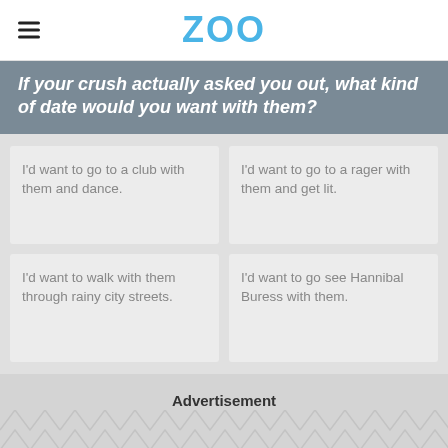ZOO
If your crush actually asked you out, what kind of date would you want with them?
I'd want to go to a club with them and dance.
I'd want to go to a rager with them and get lit.
I'd want to walk with them through rainy city streets.
I'd want to go see Hannibal Buress with them.
Advertisement